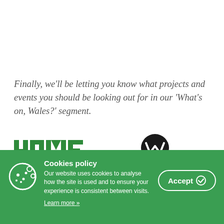Finally, we'll be letting you know what projects and events you should be looking out for in our 'What's on, Wales?' segment.
[Figure (logo): HOME logo in green bold uppercase letters]
[Figure (logo): W logo in a black circle with stylized W mark]
Cookies policy
Our website uses cookies to analyse how the site is used and to ensure your experience is consistent between visits.
Learn more »